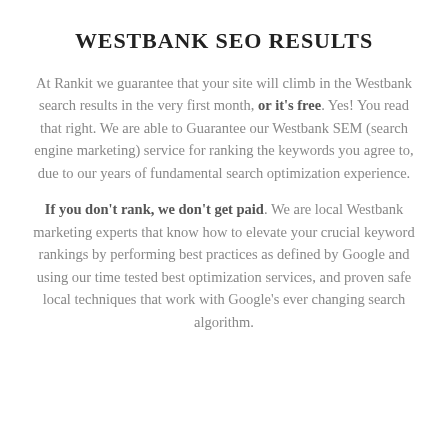WESTBANK SEO RESULTS
At Rankit we guarantee that your site will climb in the Westbank search results in the very first month, or it's free. Yes! You read that right. We are able to Guarantee our Westbank SEM (search engine marketing) service for ranking the keywords you agree to, due to our years of fundamental search optimization experience.
If you don't rank, we don't get paid. We are local Westbank marketing experts that know how to elevate your crucial keyword rankings by performing best practices as defined by Google and using our time tested best optimization services, and proven safe local techniques that work with Google's ever changing search algorithm.